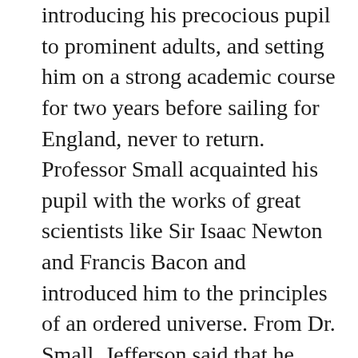introducing his precocious pupil to prominent adults, and setting him on a strong academic course for two years before sailing for England, never to return. Professor Small acquainted his pupil with the works of great scientists like Sir Isaac Newton and Francis Bacon and introduced him to the principles of an ordered universe. From Dr. Small, Jefferson said that he received ‘first views of the expansion of science and the system of things in which we are placed.’ At the time, mathematics was the ‘passion of my life,’ Jefferson recalled. This training would be invaluable later as Jefferson developed his skill as master architect,